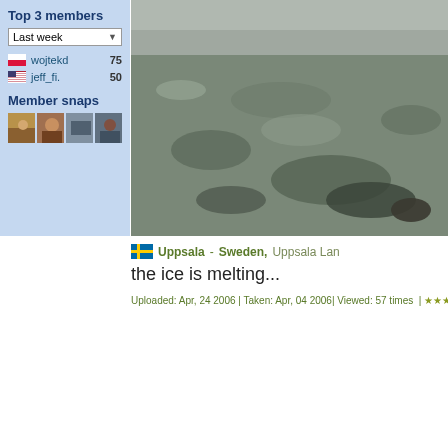Top 3 members
Last week
wojtekd  75
jeff_fi.  50
Member snaps
[Figure (photo): Icy river or lake surface showing melting ice and dark water, rocks visible at top]
Uppsala - Sweden, Uppsala Lan
the ice is melting...
Uploaded: Apr, 24 2006 | Taken: Apr, 04 2006| Viewed: 57 times | ★★★☆☆ 6